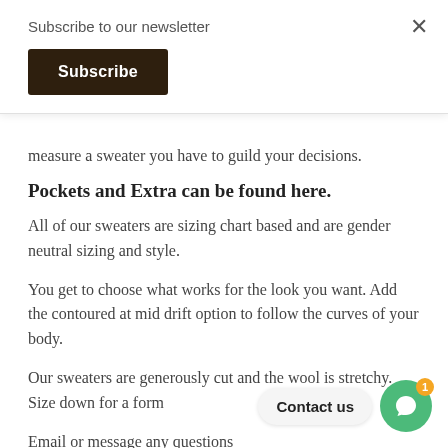Subscribe to our newsletter
Subscribe
measure a sweater you have to guild your decisions.
Pockets and Extra can be found here.
All of our sweaters are sizing chart based and are gender neutral sizing and style.
You get to choose what works for the look you want. Add the contoured at mid drift option to follow the curves of your body.
Our sweaters are generously cut and the wool is stretchy. Size down for a form
Email or message any questions
Contact us